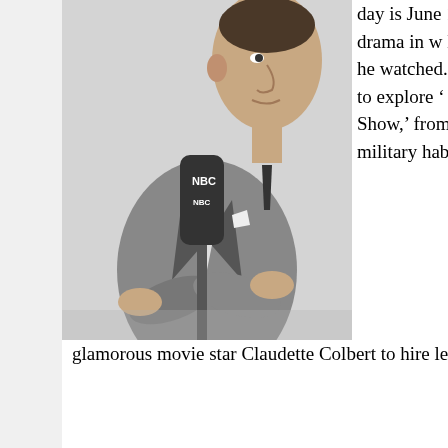[Figure (photo): Black and white photograph of a man in a suit with arms crossed, standing at an NBC microphone. The man is photographed from the waist up.]
day is June 15th. wacky "Groundho tense drama in w learns that the thi are copies and he watched. Based short story by Fre ready to explore ' Under the World. Bob Hope Show,' from a Marine ba California. Along military habits, Bo glamorous movie star Claudette Colbert to hire leading man in her next picture.
Episodes
X Minus One